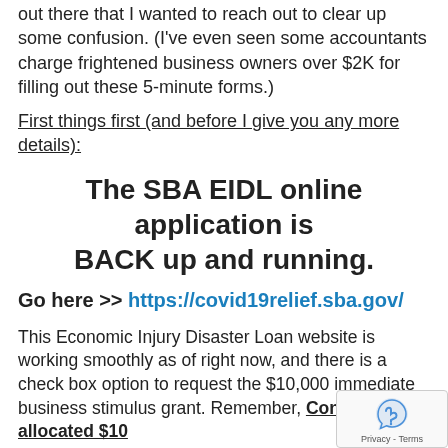out there that I wanted to reach out to clear up some confusion. (I've even seen some accountants charge frightened business owners over $2K for filling out these 5-minute forms.)
First things first (and before I give you any more details):
The SBA EIDL online application is BACK up and running.
Go here >> https://covid19relief.sba.gov/
This Economic Injury Disaster Loan website is working smoothly as of right now, and there is a check box option to request the $10,000 immediate business stimulus grant. Remember, Congress only allocated $10